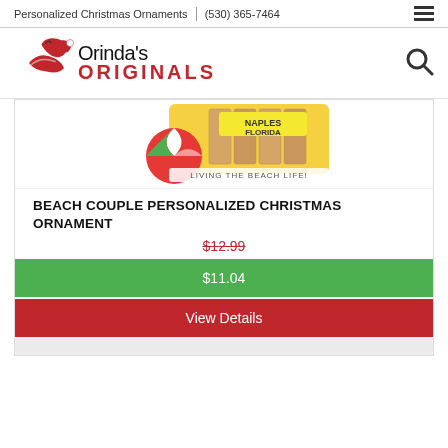Personalized Christmas Ornaments | (530) 365-7464
[Figure (logo): Orinda's Originals logo with red bird/Santa hat graphic and red bold ORIGINALS text]
[Figure (photo): Beach ornament product image showing beach balls, wood dock, NAPLES FLORIDA text, LIVING THE BEACH LIFE text]
BEACH COUPLE PERSONALIZED CHRISTMAS ORNAMENT
$12.99
$11.04
View Details